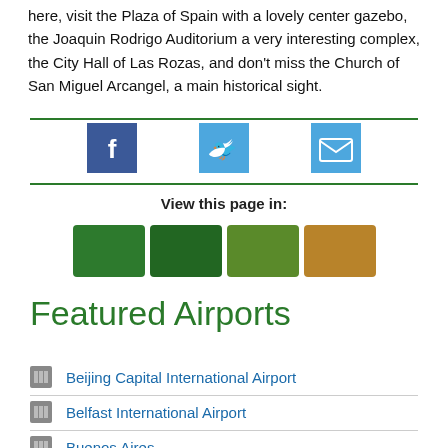here, visit the Plaza of Spain with a lovely center gazebo, the Joaquin Rodrigo Auditorium a very interesting complex, the City Hall of Las Rozas, and don't miss the Church of San Miguel Arcangel, a main historical sight.
[Figure (infographic): Social sharing icons: Facebook (blue square with f), Twitter (blue square with bird), Email (blue square with envelope)]
View this page in:
[Figure (infographic): Four language/translation button squares: two dark green and two olive/tan colored]
Featured Airports
Beijing Capital International Airport
Belfast International Airport
Buenos Aires (partial, cut off)